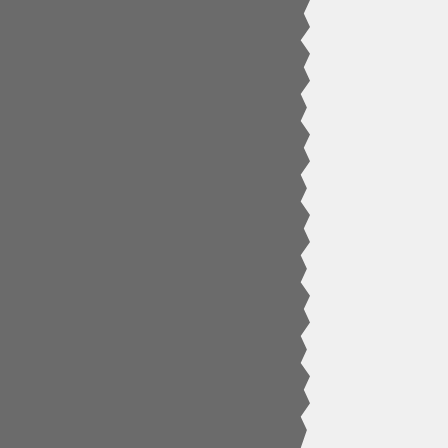[Figure (photo): Left half of page showing a torn-edge dark gray panel, likely a book or magazine page spread]
[Figure (photo): Small image box at top right, partially visible]
Next, add 2 C whole
[Figure (photo): Photo of grated food item (cheese or similar), partially visible on right side]
Using a microplane g
back side of the grate